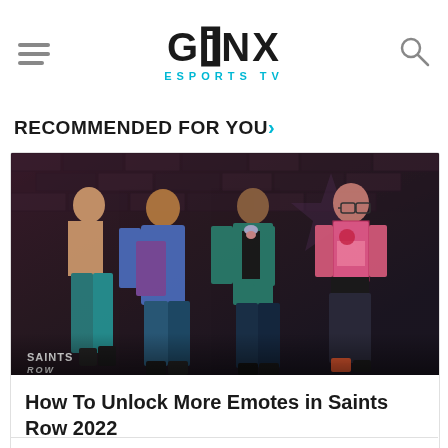GINX ESPORTS TV
RECOMMENDED FOR YOU
[Figure (photo): Saints Row 2022 game promotional image showing four animated characters standing against a graffiti brick wall background. Characters include a shirtless male, male in blue hoodie, male in teal suit with bow tie, and female in pink top with glasses.]
How To Unlock More Emotes in Saints Row 2022
1 day ago | Video Games